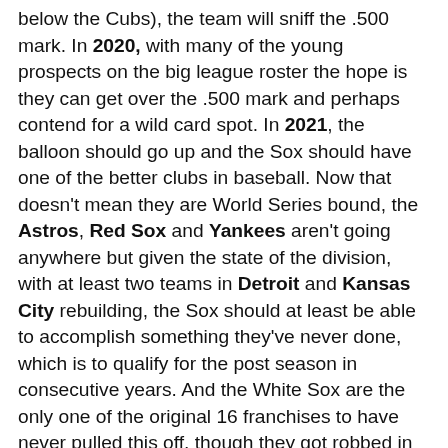below the Cubs), the team will sniff the .500 mark. In 2020, with many of the young prospects on the big league roster the hope is they can get over the .500 mark and perhaps contend for a wild card spot. In 2021, the balloon should go up and the Sox should have one of the better clubs in baseball. Now that doesn't mean they are World Series bound, the Astros, Red Sox and Yankees aren't going anywhere but given the state of the division, with at least two teams in Detroit and Kansas City rebuilding, the Sox should at least be able to accomplish something they've never done, which is to qualify for the post season in consecutive years. And the White Sox are the only one of the original 16 franchises to have never pulled this off, though they got robbed in 1994 when the strike ended the season when the White Sox were leading the Central Divison after winning that title in 1993.